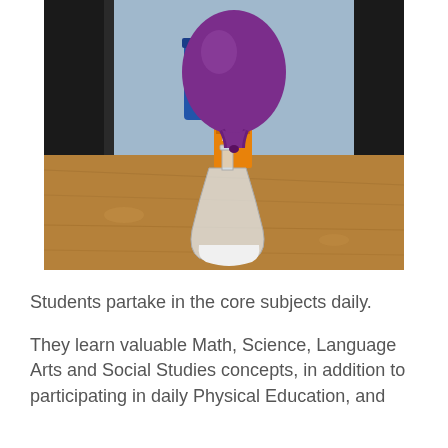[Figure (photo): A purple balloon inflated on top of a glass Erlenmeyer flask containing a white liquid (likely vinegar and baking soda reaction), sitting on a wooden table. An Arm & Hammer baking soda box is visible in the background. A blue trash can and a person standing in the background on a blue wall.]
Students partake in the core subjects daily.
They learn valuable Math, Science, Language Arts and Social Studies concepts, in addition to participating in daily Physical Education, and